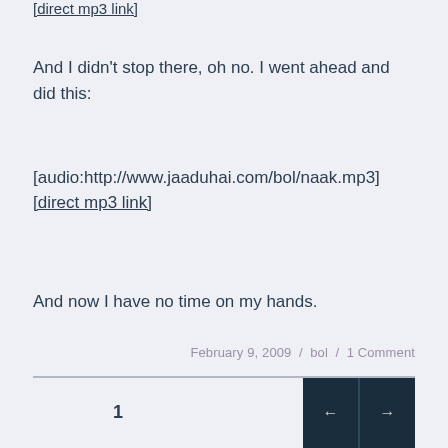[direct mp3 link]
And I didn't stop there, oh no. I went ahead and did this:
[audio:http://www.jaaduhai.com/bol/naak.mp3]
[direct mp3 link]
And now I have no time on my hands.
February 9, 2009 / bol / 1 Comment
1